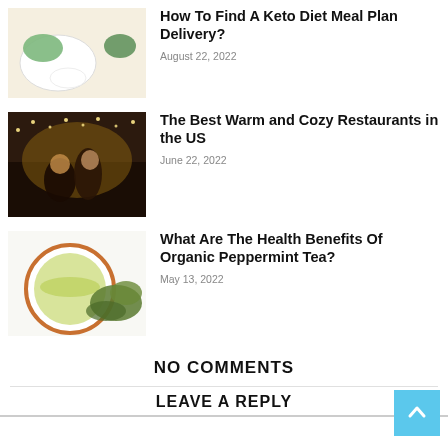[Figure (photo): Keto diet food spread with salmon, vegetables, avocado, and bowls on white background]
How To Find A Keto Diet Meal Plan Delivery?
August 22, 2022
[Figure (photo): Couple kissing in warm restaurant with fairy lights in background]
The Best Warm and Cozy Restaurants in the US
June 22, 2022
[Figure (photo): Cup of green peppermint tea with fresh herbs beside it]
What Are The Health Benefits Of Organic Peppermint Tea?
May 13, 2022
NO COMMENTS
LEAVE A REPLY